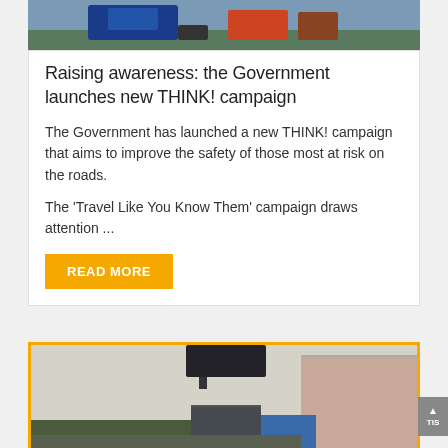[Figure (photo): Top of page showing partial image of a person in blue jacket on a road with cars in background, cropped at top]
Raising awareness: the Government launches new THINK! campaign
The Government has launched a new THINK! campaign that aims to improve the safety of those most at risk on the roads.
The ‘Travel Like You Know Them’ campaign draws attention ...
READ MORE
[Figure (photo): Second card showing interior/exterior vehicle view with truck containers visible through windscreen, yellow border card]